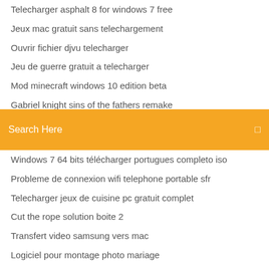Telecharger asphalt 8 for windows 7 free
Jeux mac gratuit sans telechargement
Ouvrir fichier djvu telecharger
Jeu de guerre gratuit a telecharger
Mod minecraft windows 10 edition beta
Gabriel knight sins of the fathers remake
Age of empires télécharger android
Search Here
Windows 7 64 bits télécharger portugues completo iso
Probleme de connexion wifi telephone portable sfr
Telecharger jeux de cuisine pc gratuit complet
Cut the rope solution boite 2
Transfert video samsung vers mac
Logiciel pour montage photo mariage
Codec pour lire video windows movie maker
Super smash flash 2 télécharger mac
Asio usb audio driver
Bendy and the ink machine gratuit online play